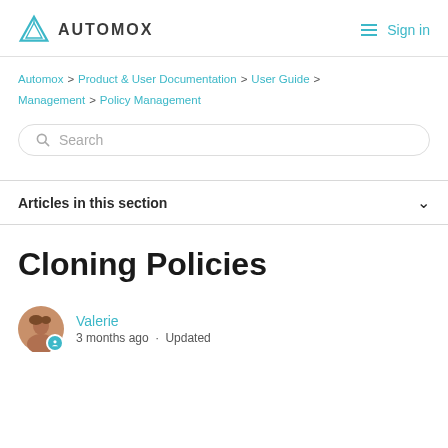AUTOMOX  ≡  Sign in
Automox > Product & User Documentation > User Guide > Management > Policy Management
Search
Articles in this section
Cloning Policies
Valerie
3 months ago · Updated